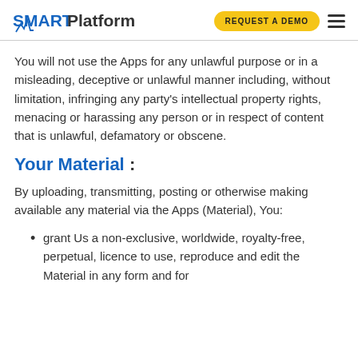SMART Platform | REQUEST A DEMO
You will not use the Apps for any unlawful purpose or in a misleading, deceptive or unlawful manner including, without limitation, infringing any party's intellectual property rights, menacing or harassing any person or in respect of content that is unlawful, defamatory or obscene.
Your Material :
By uploading, transmitting, posting or otherwise making available any material via the Apps (Material), You:
grant Us a non-exclusive, worldwide, royalty-free, perpetual, licence to use, reproduce and edit the Material in any form and for